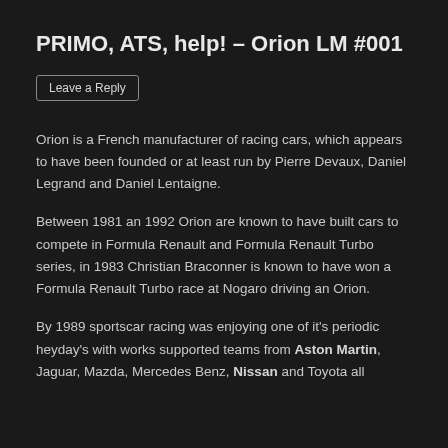PRIMO, ATS, help! – Orion LM #001
Leave a Reply
Orion is a French manufacturer of racing cars, which appears to have been founded or at least run by Pierre Devaux, Daniel Legrand and Daniel Lentaigne.
Between 1981 an 1992 Orion are known to have built cars to compete in Formula Renault and Formula Renault Turbo series, in 1983 Christian Braconner is known to have won a Formula Renault Turbo race at Nogaro driving an Orion.
By 1989 sportscar racing was enjoying one of it's periodic heyday's with works supported teams from Aston Martin, Jaguar, Mazda, Mercedes Benz, Nissan and Toyota all